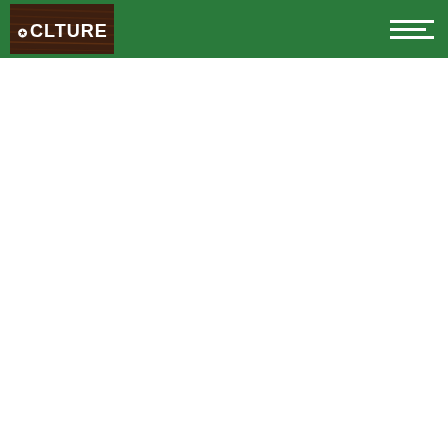CLTURE
[Figure (screenshot): White area below the green header navigation bar]